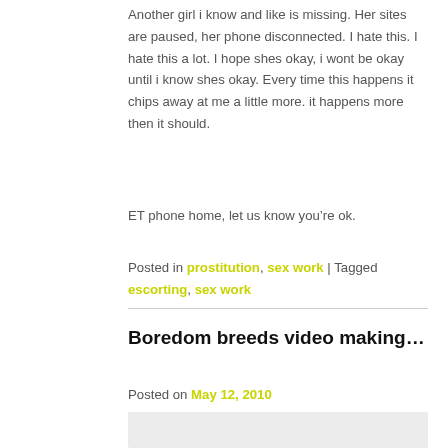Another girl i know and like is missing. Her sites are paused, her phone disconnected. I hate this. I hate this a lot. I hope shes okay, i wont be okay until i know shes okay. Every time this happens it chips away at me a little more. it happens more then it should.
ET phone home, let us know you're ok.
Posted in prostitution, sex work | Tagged escorting, sex work
Boredom breeds video making…
Posted on May 12, 2010
[Figure (other): Light gray placeholder box representing a video or image embed]